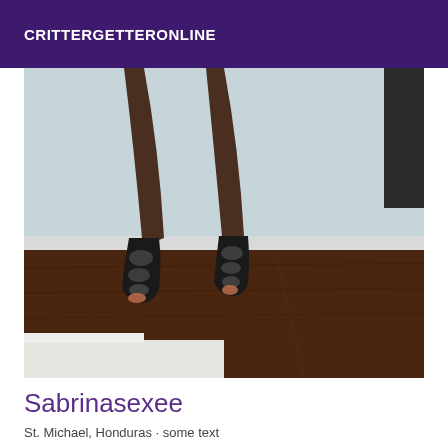CRITTERGETTERONLINE
[Figure (photo): Photo showing legs of a person wearing black strappy high heels, standing on a dark wooden floor against a light blue/white wall, with white bedding visible at the bottom of the frame.]
Sabrinasexee
St. Michael, Honduras · some text